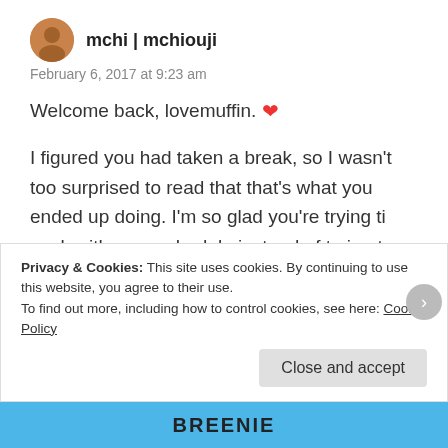[Figure (photo): Small circular avatar photo of user mchi / mchiouji]
mchi | mchiouji
February 6, 2017 at 9:23 am
Welcome back, lovemuffin. ❤
I figured you had taken a break, so I wasn't too surprised to read that that's what you ended up doing. I'm so glad you're trying ti work with your schedule instead of trying to work around it. I'm also glad you're getting better about taking breaks. Those are two things I had trouble with those two things before I took a break and made it work for myself.
Privacy & Cookies: This site uses cookies. By continuing to use this website, you agree to their use.
To find out more, including how to control cookies, see here: Cookie Policy
Close and accept